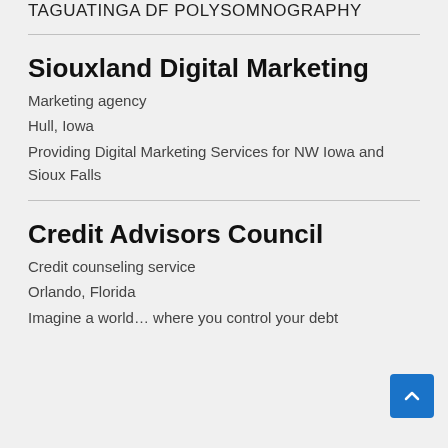TAGUATINGA DF POLYSOMNOGRAPHY
Siouxland Digital Marketing
Marketing agency
Hull, Iowa
Providing Digital Marketing Services for NW Iowa and Sioux Falls
Credit Advisors Council
Credit counseling service
Orlando, Florida
Imagine a world… where you control your debt